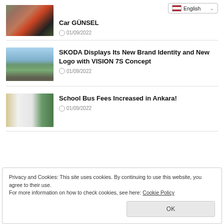[Figure (screenshot): Language selector showing English with flag]
[Figure (photo): Photo showing group of people with cars - thumbnail for Car GÜNSEL article]
Car GÜNSEL
01/09/2022
[Figure (photo): Green SUV concept car on rocky terrain - thumbnail for SKODA article]
SKODA Displays Its New Brand Identity and New Logo with VISION 7S Concept
01/09/2022
[Figure (photo): White school bus with person standing beside it - thumbnail]
School Bus Fees Increased in Ankara!
01/09/2022
Privacy and Cookies: This site uses cookies. By continuing to use this website, you agree to their use.
For more information on how to check cookies, see here: Cookie Policy